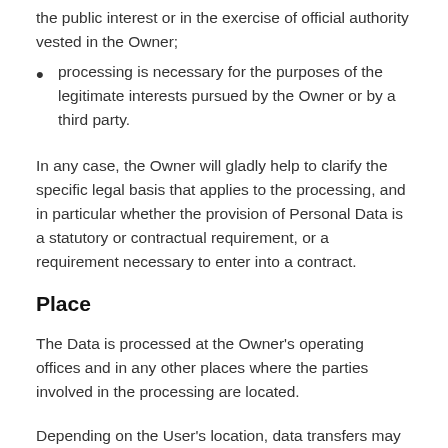the public interest or in the exercise of official authority vested in the Owner;
processing is necessary for the purposes of the legitimate interests pursued by the Owner or by a third party.
In any case, the Owner will gladly help to clarify the specific legal basis that applies to the processing, and in particular whether the provision of Personal Data is a statutory or contractual requirement, or a requirement necessary to enter into a contract.
Place
The Data is processed at the Owner's operating offices and in any other places where the parties involved in the processing are located.
Depending on the User's location, data transfers may involve transferring the User's Data to a country other